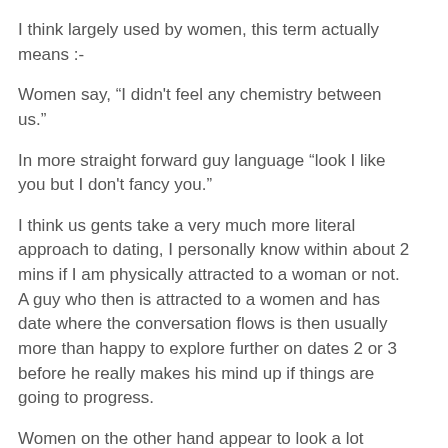I think largely used by women, this term actually means :-
Women say, “I didn't feel any chemistry between us.”
In more straight forward guy language “look I like you but I don't fancy you.”
I think us gents take a very much more literal approach to dating, I personally know within about 2 mins if I am physically attracted to a woman or not. A guy who then is attracted to a women and has date where the conversation flows is then usually more than happy to explore further on dates 2 or 3 before he really makes his mind up if things are going to progress.
Women on the other hand appear to look a lot deeper than this.
1. Do I fancy him?
2. Does he make me laugh?
3. Is he a gentleman?
4. Does he flirt with me?